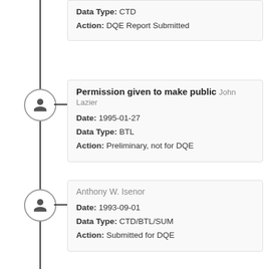Data Type: CTD
Action: DQE Report Submitted
Permission given to make public  John Lazier
Date: 1995-01-27
Data Type: BTL
Action: Preliminary, not for DQE
Anthony W. Isenor
Date: 1993-09-01
Data Type: CTD/BTL/SUM
Action: Submitted for DQE